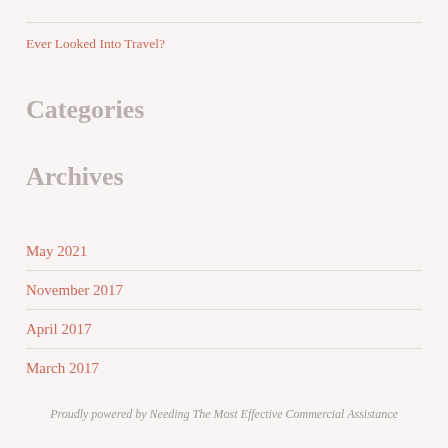Ever Looked Into Travel?
Categories
Archives
May 2021
November 2017
April 2017
March 2017
Proudly powered by Needing The Most Effective Commercial Assistance